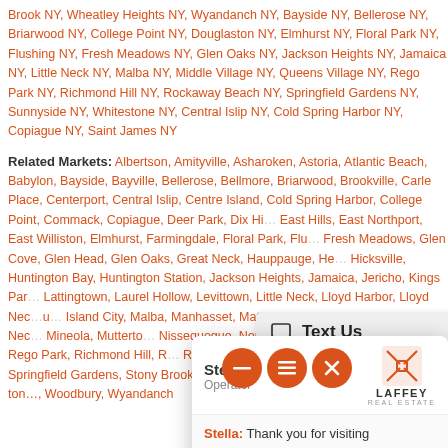Brook NY, Wheatley Heights NY, Wyandanch NY, Bayside NY, Bellerose NY, Briarwood NY, College Point NY, Douglaston NY, Elmhurst NY, Floral Park NY, Flushing NY, Fresh Meadows NY, Glen Oaks NY, Jackson Heights NY, Jamaica NY, Little Neck NY, Malba NY, Middle Village NY, Queens Village NY, Rego Park NY, Richmond Hill NY, Rockaway Beach NY, Springfield Gardens NY, Sunnyside NY, Whitestone NY, Central Islip NY, Cold Spring Harbor NY, Copiague NY, Saint James NY
Related Markets: Albertson, Amityville, Asharoken, Astoria, Atlantic Beach, Babylon, Bayside, Bayville, Bellerose, Bellmore, Briarwood, Brookville, Carle Place, Centerport, Central Islip, Centre Island, Cold Spring Harbor, College Point, Commack, Copiague, Deer Park, Dix Hills, East Hills, East Northport, East Williston, Elmhurst, Farmingdale, Floral Park, Flushing, Fresh Meadows, Glen Cove, Glen Head, Glen Oaks, Great Neck, Hauppauge, Hempstead, Hicksville, Huntington Bay, Huntington Station, Jackson Heights, Jamaica, Jericho, Kings Park, Lattingtown, Laurel Hollow, Levittown, Little Neck, Lloyd Harbor, Lloyd Neck, Long Island City, Malba, Manhasset, Matinecock, Merrick, Middle Village, Mill Neck, Mineola, Muttontown, Nissequogue, North Hills, Northport, Old Westbury, Oyster Bay, Queens Village, Rego Park, Richmond Hill, Rockaway Beach, Roslyn, Roslyn Harbor, Roslyn Heights, Saint James, Smithtown, Sunnyside, Springfield Gardens, Stony Brook, Syosset, Westbury, Wheatley Heights, Whitestone, Williston Park, Woodbury, Wyandanch
Should You Tap I...
by Laffey Real Estate
[Figure (screenshot): Chat widget popup showing Stella operator with Laffey Real Estate logo, message 'Thank you for visiting Laffey.com, how can I help you?', text input field, and 'Powered By: LiveAdmins' footer. Also shows 'Text Us' bar and floating action buttons.]